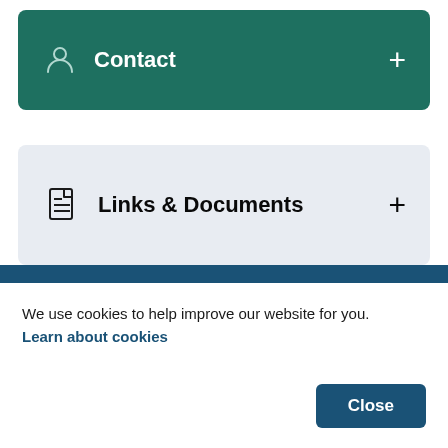[Figure (other): Contact accordion section header with teal background, person icon, bold white 'Contact' label, and a '+' button on the right]
[Figure (other): Links & Documents accordion section header with light blue-grey background, document icon, bold black 'Links & Documents' label, and a '+' button on the right]
We use cookies to help improve our website for you.
Learn about cookies
Close